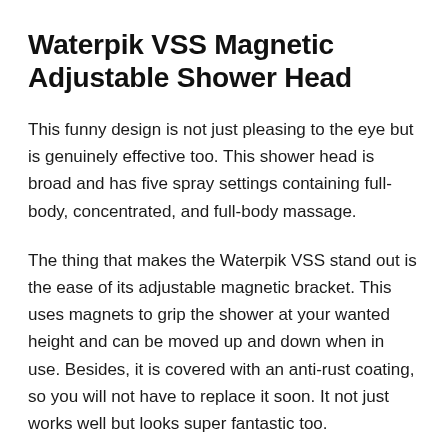Waterpik VSS Magnetic Adjustable Shower Head
This funny design is not just pleasing to the eye but is genuinely effective too. This shower head is broad and has five spray settings containing full-body, concentrated, and full-body massage.
The thing that makes the Waterpik VSS stand out is the ease of its adjustable magnetic bracket. This uses magnets to grip the shower at your wanted height and can be moved up and down when in use. Besides, it is covered with an anti-rust coating, so you will not have to replace it soon. It not just works well but looks super fantastic too.